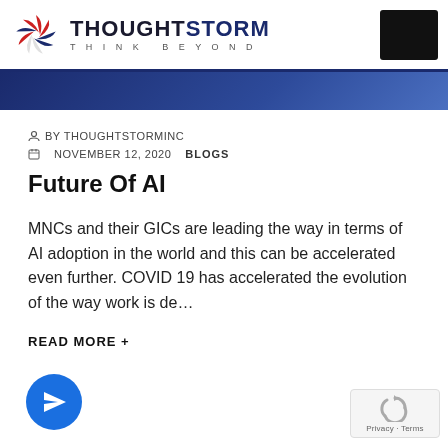[Figure (logo): ThoughtStorm logo with swirl icon and tagline THINK BEYOND]
[Figure (photo): Blue banner image strip with partial face/AI illustration]
BY THOUGHTSTORMINC
NOVEMBER 12, 2020   BLOGS
Future Of AI
MNCs and their GICs are leading the way in terms of AI adoption in the world and this can be accelerated even further. COVID 19 has accelerated the evolution of the way work is de…
READ MORE +